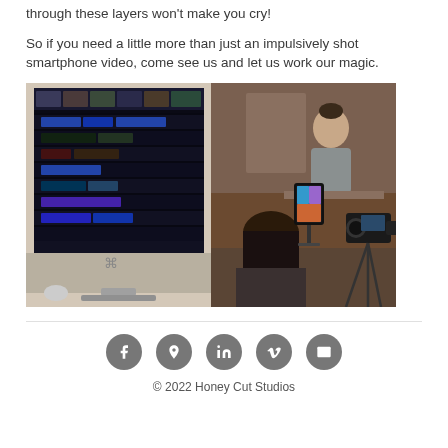through these layers won't make you cry!
So if you need a little more than just an impulsively shot smartphone video, come see us and let us work our magic.
[Figure (photo): Two-panel composite photo: left panel shows a Mac computer displaying video editing software timeline; right panel shows a filming setup with a person being recorded by a camera on a tripod while someone holds a tablet on a stand.]
© 2022 Honey Cut Studios